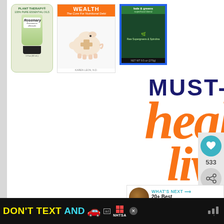[Figure (screenshot): Screenshot of a blog/website page showing a 'Must-Have Healthy Living Resource List' post with three product images at the top (Rosemary essential oil bottle, a book titled 'Wealth: The Cure For Nutritional Debt' with a bandaged piggy bank, and a kale/greens supplement package), large decorative typography saying 'MUST-HAVE healthy living RESOURCE LIST', a heart/like button showing 533, a share button, a 'WHAT'S NEXT' panel for '20+ Best Natural Cold...', and an NHTSA 'DON'T TEXT AND [car emoji]' advertisement banner at the bottom.]